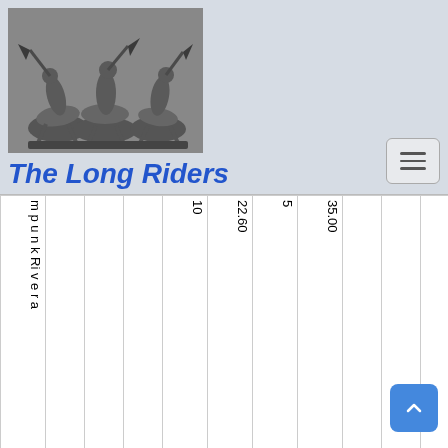[Figure (photo): Bronze sculpture of three horsemen riding dynamically, known as 'The Long Riders']
The Long Riders
| mpunkRivera |  |  |  | 10 | 22.60 | 5 | 35.00 |  |  |  |  |